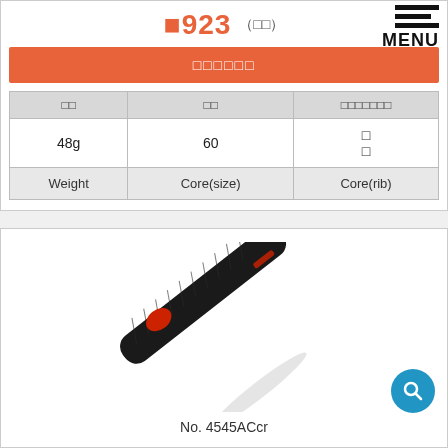923 (□□)
□□□□□□
| □□ | □□ | □□□□□□□ |
| --- | --- | --- |
| 48g | 60 | □
□ |
| Weight | Core(size) | Core(rib) |
[Figure (photo): Black golf grip with red cap, diagonal orientation, product No. 4545ACcr]
No. 4545ACcr